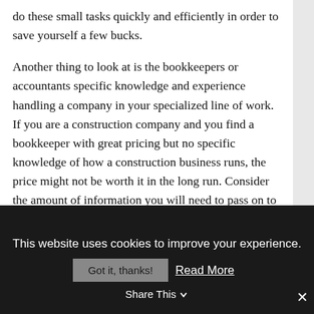do these small tasks quickly and efficiently in order to save yourself a few bucks.
Another thing to look at is the bookkeepers or accountants specific knowledge and experience handling a company in your specialized line of work. If you are a construction company and you find a bookkeeper with great pricing but no specific knowledge of how a construction business runs, the price might not be worth it in the long run. Consider the amount of information you will need to pass on to the person who will be handling your books and how much time it will take to bring them up to speed, versus finding someone who may be a little
This website uses cookies to improve your experience.
Got it, thanks!
Read More
Share This